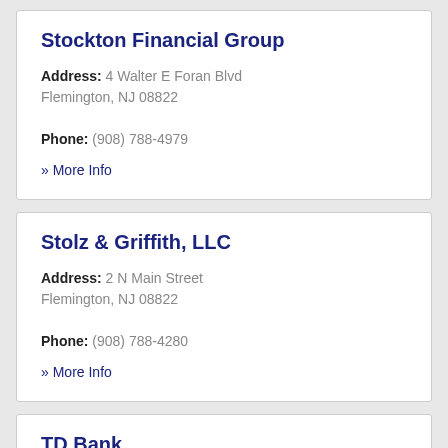Stockton Financial Group
Address: 4 Walter E Foran Blvd Flemington, NJ 08822
Phone: (908) 788-4979
» More Info
Stolz & Griffith, LLC
Address: 2 N Main Street Flemington, NJ 08822
Phone: (908) 788-4280
» More Info
TD Bank